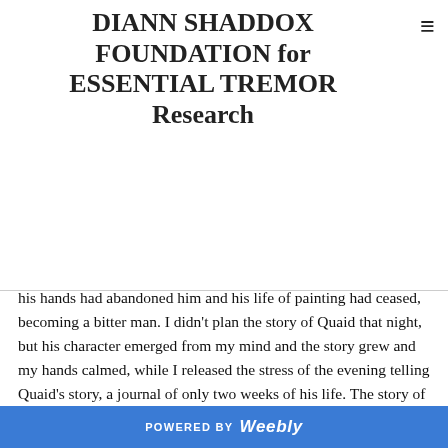DIANN SHADDOX FOUNDATION for ESSENTIAL TREMOR Research
his hands had abandoned him and his life of painting had ceased, becoming a bitter man. I didn't plan the story of Quaid that night, but his character emerged from my mind and the story grew and my hands calmed, while I released the stress of the evening telling Quaid's story, a journal of only two weeks of his life. The story of Quaid Witherspoon, the novel 'A Faded Cottage', became an incredible love story, one about strength of mind to fight fate and never accept what life throws at you. 'A Faded Cottage' is journal of a famous artist not of his life, but of only two weeks, a love story about aging and two people being reunited
POWERED BY Weebly